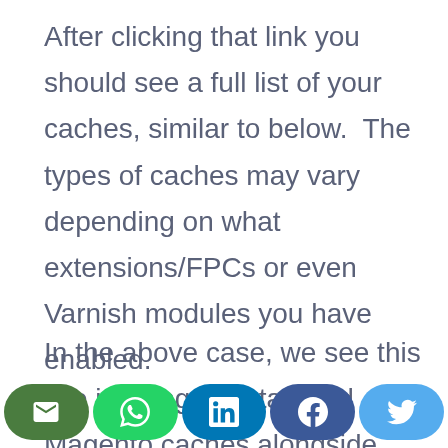After clicking that link you should see a full list of your caches, similar to below.  The types of caches may vary depending on what extensions/FPCs or even Varnish modules you have enabled.
In the above case, we see this site is using the standard Magento caches alongside
[Figure (infographic): Social share bar with email (dark green), WhatsApp (green), LinkedIn (dark teal), Facebook (dark blue), and Twitter (light blue) buttons]